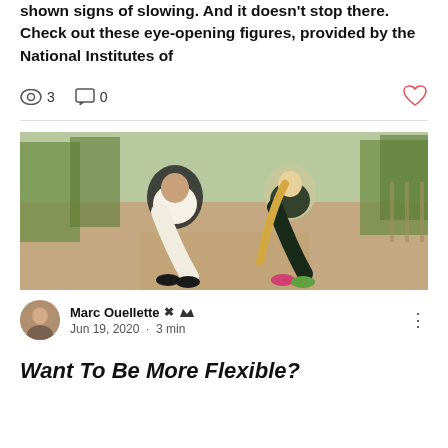shown signs of slowing. And it doesn't stop there. Check out these eye-opening figures, provided by the National Institutes of
3  0  ♡
[Figure (photo): Two people bending forward to touch their toes on an outdoor path, stretching before a run. A man in white tank top on the left and a woman in dark athletic wear on the right.]
Marc Ouellette 👑
Jun 19, 2020  ·  3 min
Want To Be More Flexible?